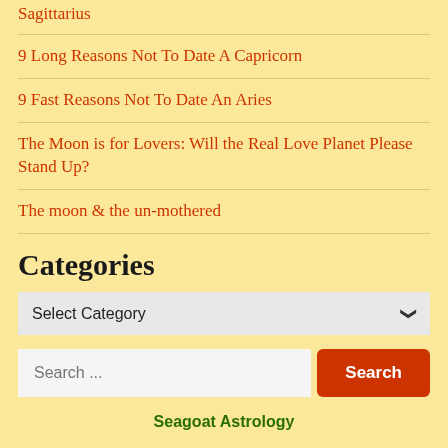Sagittarius
9 Long Reasons Not To Date A Capricorn
9 Fast Reasons Not To Date An Aries
The Moon is for Lovers: Will the Real Love Planet Please Stand Up?
The moon & the un-mothered
Categories
Select Category
Search ...
Seagoat Astrology